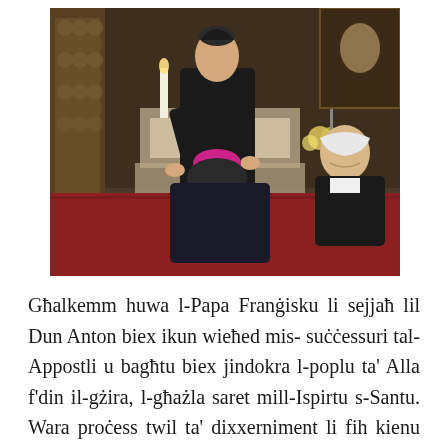[Figure (photo): A bishop standing in a church interior, placing or adjusting a pink/magenta zucchetto (bishop's skullcap) on a seated person's head. Another smiling elderly person in black sits to the right. Church decorations, candles, and an altar visible in the background. Red carpet on the floor.]
Għalkemm huwa l-Papa Franġisku li sejjaħ lil Dun Anton biex ikun wieħed mis- suċċessuri tal-Appostli u bagħtu biex jindokra l-poplu ta' Alla f'din il-gżira, l-għażla saret mill-Ispirtu s-Santu. Wara proċess twil ta' dixxerniment li fih kienu msiebħa għadd ġmielu ta' isqfijiet